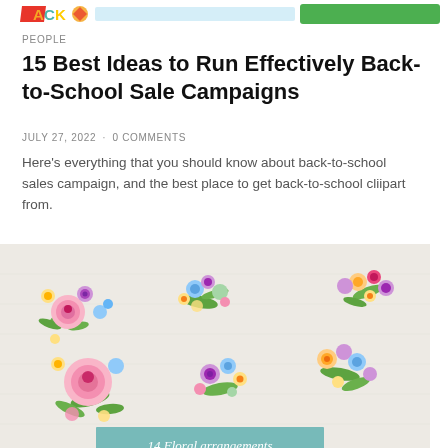BACK TO SCHOOL (logo/header bar)
PEOPLE
15 Best Ideas to Run Effectively Back-to-School Sale Campaigns
JULY 27, 2022 · 0 COMMENTS
Here's everything that you should know about back-to-school sales campaign, and the best place to get back-to-school cliipart from.
[Figure (illustration): Watercolor floral arrangements clipart on a light grey textured background. Multiple colorful flower bouquet clusters including pink roses, purple flowers, blue hydrangeas, yellow and orange blooms with green leaves. A teal/mint colored overlay banner reads '14 Floral arrangements' in italic white text.]